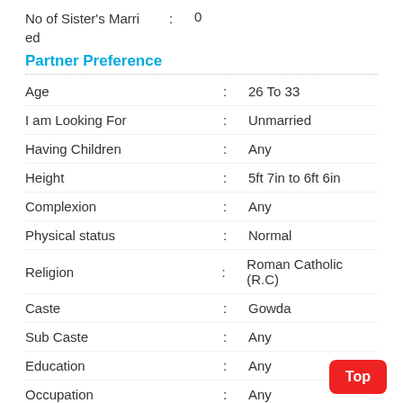No of Sister's Married : 0
Partner Preference
Age : 26 To 33
I am Looking For : Unmarried
Having Children : Any
Height : 5ft 7in to 6ft 6in
Complexion : Any
Physical status : Normal
Religion : Roman Catholic (R.C)
Caste : Gowda
Sub Caste : Any
Education : Any
Occupation : Any
Country Living in : Any